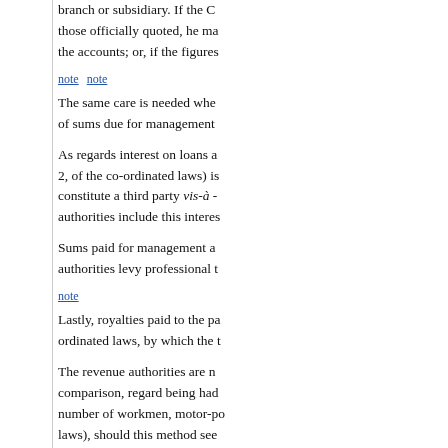branch or subsidiary. If the C... those officially quoted, he ma... the accounts; or, if the figures...
note  note
The same care is needed whe... of sums due for management...
As regards interest on loans a... 2, of the co-ordinated laws) is... constitute a third party vis-à -... authorities include this interes...
Sums paid for management a... authorities levy professional t...
note
Lastly, royalties paid to the pa... ordinated laws, by which the t...
The revenue authorities are n... comparison, regard being had... number of workmen, motor-po... laws), should this method see... accounts; recourse to the con...
The criteria on which the latte... similar conditions. The law do... workmen, etc.). This is left to... as possible the presumed pro...